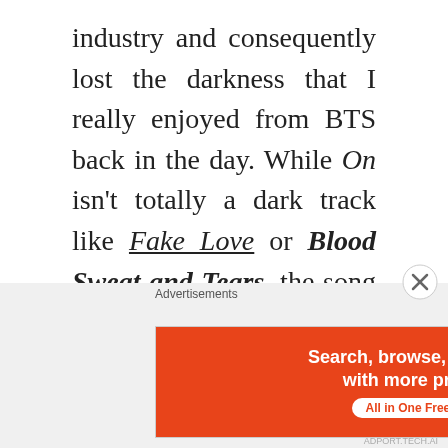industry and consequently lost the darkness that I really enjoyed from BTS back in the day. While On isn't totally a dark track like Fake Love or Blood Sweat and Tears, the song is a step in that direction with its edgy vibes. I love the marching drums in the instrumental. It keeps the song coming at you in a consistent manner, driving the song along with a subtle yet heavy intensity. The subtle voice synths (what is the technical terms for this?) in the chorus that were made to match the style of a rolling drum beat was also quite cool. The
[Figure (other): DuckDuckGo advertisement banner: 'Search, browse, and email with more privacy. All in One Free App' on orange background with DuckDuckGo logo on dark background]